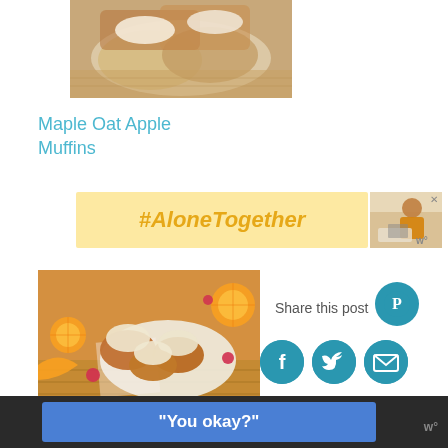[Figure (photo): Overhead photo of baked muffins on a plate with cream/frosting]
Maple Oat Apple Muffins
[Figure (infographic): Advertisement banner with yellow background showing '#AloneTogether' text in gold/orange italic font, with a side image of a woman in kitchen]
[Figure (photo): Photo of maple oat apple muffins on a plate surrounded by orange slices and raspberries]
Share this post
[Figure (infographic): Social share icons: Pinterest (top right), Facebook, Twitter, Email (bottom row)]
[Figure (infographic): Bottom advertisement bar with blue button reading '"You okay?"']